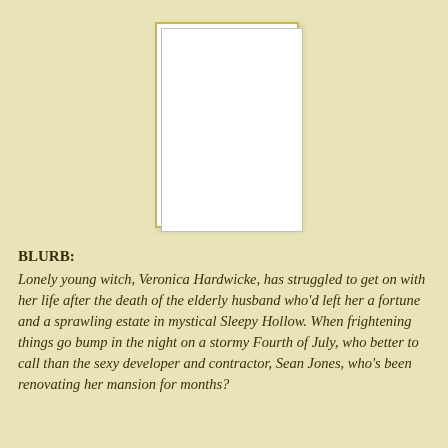[Figure (illustration): A book cover image placeholder showing a broken/missing image icon (document with torn corner icon) in the top-left corner of a white rectangular book cover area with a yellow-gold outer border and light grey inner border.]
BLURB:
Lonely young witch, Veronica Hardwicke, has struggled to get on with her life after the death of the elderly husband who'd left her a fortune and a sprawling estate in mystical Sleepy Hollow. When frightening things go bump in the night on a stormy Fourth of July, who better to call than the sexy developer and contractor, Sean Jones, who's been renovating her mansion for months?